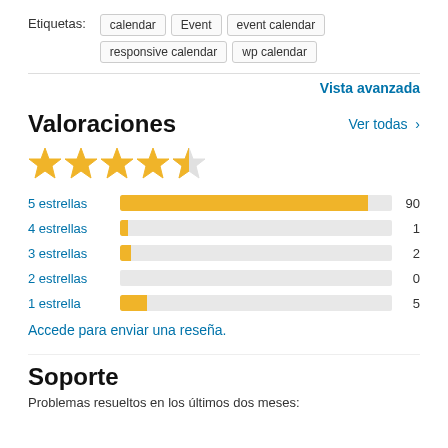Etiquetas: calendar Event event calendar responsive calendar wp calendar
Vista avanzada
Valoraciones
Ver todas >
[Figure (other): 4.5 out of 5 stars rating display]
[Figure (bar-chart): Rating distribution]
Accede para enviar una reseña.
Soporte
Problemas resueltos en los últimos dos meses: